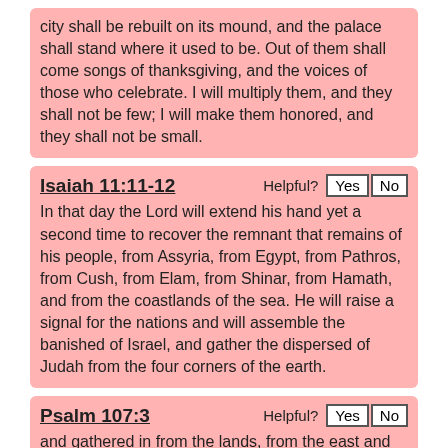city shall be rebuilt on its mound, and the palace shall stand where it used to be. Out of them shall come songs of thanksgiving, and the voices of those who celebrate. I will multiply them, and they shall not be few; I will make them honored, and they shall not be small.
Isaiah 11:11-12
In that day the Lord will extend his hand yet a second time to recover the remnant that remains of his people, from Assyria, from Egypt, from Pathros, from Cush, from Elam, from Shinar, from Hamath, and from the coastlands of the sea. He will raise a signal for the nations and will assemble the banished of Israel, and gather the dispersed of Judah from the four corners of the earth.
Psalm 107:3
and gathered in from the lands, from the east and from the west, from the north and from the south.